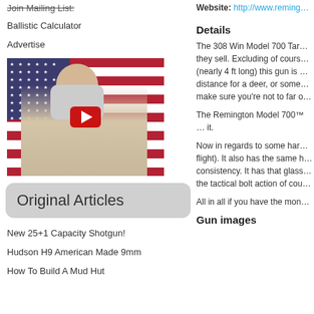Join Mailing List:
Ballistic Calculator
Advertise
[Figure (screenshot): Video thumbnail showing an older man with a long white beard seated in front of an American flag, with a YouTube play button overlay]
Original Articles
New 25+1 Capacity Shotgun!
Hudson H9 American Made 9mm
How To Build A Mud Hut
Website: http://www.remi...
Details
The 308 Win Model 700 Tar... they sell. Excluding of cours... (nearly 4 ft long) this gun is ... distance for a deer, or some... make sure you're not to far o...
The Remington Model 700™ ... it.
Now in regards to some har... flight). It also has the same h... consistency. It has that glass... the tactical bolt action of cou...
All in all if you have the mon...
Gun images